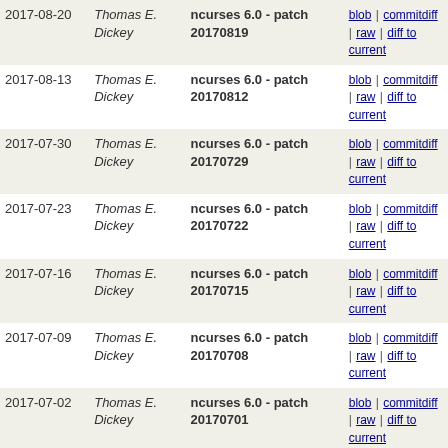| Date | Author | Description | Links |
| --- | --- | --- | --- |
| 2017-08-20 | Thomas E. Dickey | ncurses 6.0 - patch 20170819 | blob | commitdiff | raw | diff to current |
| 2017-08-13 | Thomas E. Dickey | ncurses 6.0 - patch 20170812 | blob | commitdiff | raw | diff to current |
| 2017-07-30 | Thomas E. Dickey | ncurses 6.0 - patch 20170729 | blob | commitdiff | raw | diff to current |
| 2017-07-23 | Thomas E. Dickey | ncurses 6.0 - patch 20170722 | blob | commitdiff | raw | diff to current |
| 2017-07-16 | Thomas E. Dickey | ncurses 6.0 - patch 20170715 | blob | commitdiff | raw | diff to current |
| 2017-07-09 | Thomas E. Dickey | ncurses 6.0 - patch 20170708 | blob | commitdiff | raw | diff to current |
| 2017-07-02 | Thomas E. Dickey | ncurses 6.0 - patch 20170701 | blob | commitdiff | raw | diff to current |
| 2017-06-25 | Thomas E. Dickey | ncurses 6.0 - patch 20170624 | blob | commitdiff | raw | diff to current |
| 2017-06-18 | Thomas E. Dickey | ncurses 6.0 - patch 20170617 | blob | commitdiff | raw | diff to current |
| 2017-06-11 | Thomas E. Dickey | ncurses 6.0 - patch 20170610 | blob | commitdiff | raw | diff to current |
| 2017-06-04 | Thomas E. Dickey | ncurses 6.0 - patch 20170603 | blob | commitdiff | raw | diff to current |
| 2017-05-28 | Thomas E. Dickey | ncurses 6.0 - patch 20170527 | blob | commitdiff | raw | diff to current |
| 2017-05-21 | Thomas E. Dickey | ncurses 6.0 - patch 20170520 | blob | commitdiff | raw | diff to current |